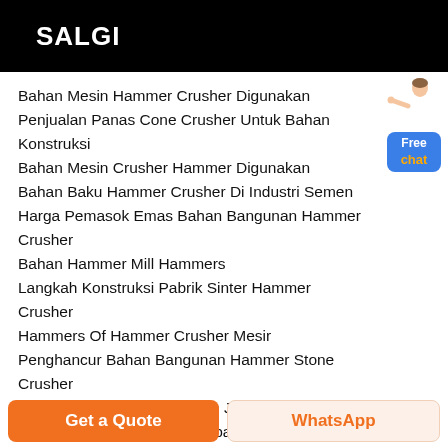SALGI
Bahan Mesin Hammer Crusher Digunakan
Penjualan Panas Cone Crusher Untuk Bahan Konstruksi
Bahan Mesin Crusher Hammer Digunakan
Bahan Baku Hammer Crusher Di Industri Semen
Harga Pemasok Emas Bahan Bangunan Hammer Crusher
Bahan Hammer Mill Hammers
Langkah Konstruksi Pabrik Sinter Hammer Crusher
Hammers Of Hammer Crusher Mesir
Penghancur Bahan Bangunan Hammer Stone Crusher
Bekas Truk Mobile Cone Dan Jaw
Mesin Buttermilk Penjual Terbaik
Get a Quote
WhatsApp